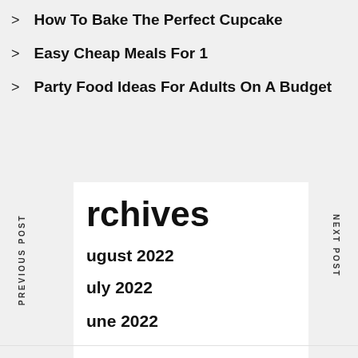How To Bake The Perfect Cupcake
Easy Cheap Meals For 1
Party Food Ideas For Adults On A Budget
Archives
August 2022
July 2022
June 2022
May 2022
April 2022
March 2022